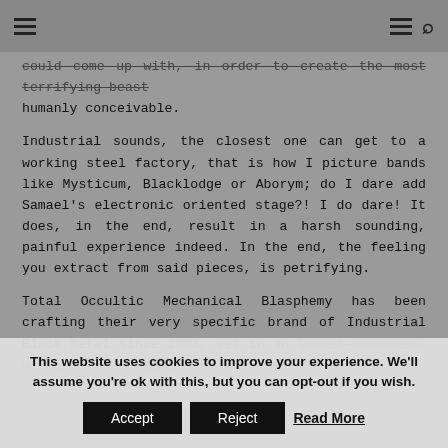[hamburger menu] [hamburger menu] [search icon]
could come up with, in order to create the most terrifying beast humanly conceivable.
Industrial sounds, the closest one can get to a working steel factory, that is how I picture bands like Mysticum, Blacklodge or Aborym; do I dare add Samael's electronic oriented stage?! I do dare! It does, in the end, result in a harsh sounding, painful experience indeed. In the end, the feeling you extract from said pieces, is petrifying.
Total Occultic Mechanical Blasphemy has been crafting their very specific brand of Industrial Black Metal since 2003, set in an Occult scenario, a Séance of thoughts and sounds. Much more
This website uses cookies to improve your experience. We'll assume you're ok with this, but you can opt-out if you wish. Accept Reject Read More